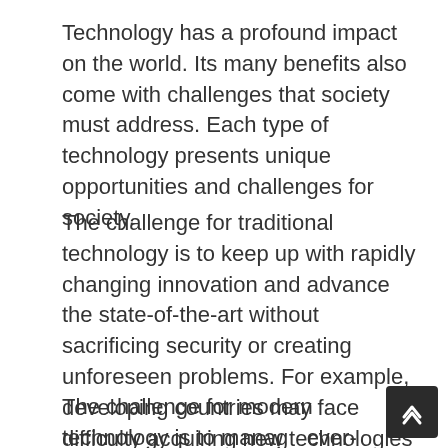Technology has a profound impact on the world. Its many benefits also come with challenges that society must address. Each type of technology presents unique opportunities and challenges for society.
The challenge for traditional technology is to keep up with rapidly changing innovation and advance the state-of-the-art without sacrificing security or creating unforeseen problems. For example, developing countries may face difficulty acquiring new technologies as they often require expensive infrastructure investments. In terms of societal implications, traditional technology can be used to control and surveil populations and inflict damage in times of conflict.
The challenge for modern technology is to manage ever-growing complexity and mitigate the negative